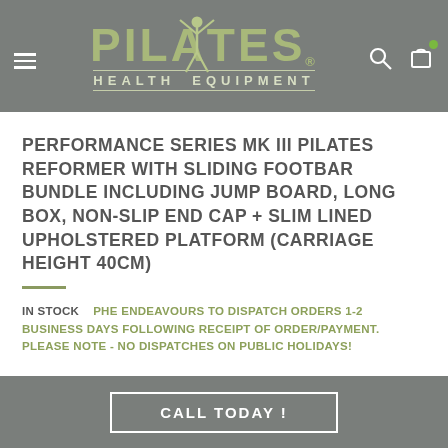PILATES HEALTH EQUIPMENT
PERFORMANCE SERIES MK III PILATES REFORMER WITH SLIDING FOOTBAR BUNDLE INCLUDING JUMP BOARD, LONG BOX, NON-SLIP END CAP + SLIM LINED UPHOLSTERED PLATFORM (CARRIAGE HEIGHT 40CM)
IN STOCK   PHE ENDEAVOURS TO DISPATCH ORDERS 1-2 BUSINESS DAYS FOLLOWING RECEIPT OF ORDER/PAYMENT. PLEASE NOTE - NO DISPATCHES ON PUBLIC HOLIDAYS!
CALL TODAY !